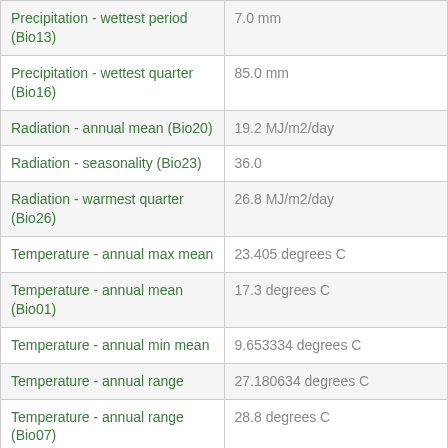| Parameter | Value |
| --- | --- |
| Precipitation - wettest period (Bio13) | 7.0 mm |
| Precipitation - wettest quarter (Bio16) | 85.0 mm |
| Radiation - annual mean (Bio20) | 19.2 MJ/m2/day |
| Radiation - seasonality (Bio23) | 36.0 |
| Radiation - warmest quarter (Bio26) | 26.8 MJ/m2/day |
| Temperature - annual max mean | 23.405 degrees C |
| Temperature - annual mean (Bio01) | 17.3 degrees C |
| Temperature - annual min mean | 9.653334 degrees C |
| Temperature - annual range | 27.180634 degrees C |
| Temperature - annual range (Bio07) | 28.8 degrees C |